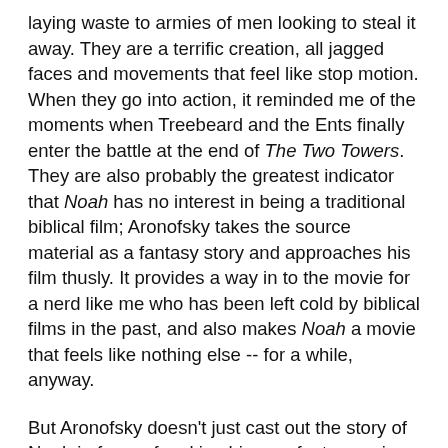laying waste to armies of men looking to steal it away. They are a terrific creation, all jagged faces and movements that feel like stop motion. When they go into action, it reminded me of the moments when Treebeard and the Ents finally enter the battle at the end of The Two Towers. They are also probably the greatest indicator that Noah has no interest in being a traditional biblical film; Aronofsky takes the source material as a fantasy story and approaches his film thusly. It provides a way in to the movie for a nerd like me who has been left cold by biblical films in the past, and also makes Noah a movie that feels like nothing else -- for a while, anyway.
But Aronofsky doesn't just cast out the story of Noah in favor of making his own fantasy epic; for all of the criticism the movie has drawn in some circles (much by people who hadn't yet seen it), he treats the ideas of the source material with great seriousness. His film doesn't preach, it doesn't hold our hand and it rarely tells us exactly what we want to hear. It has some bleak things to say about mankind, who it argues, at times, are deserving of being wiped clean for the way they have treated the planet (Aronofsky is an